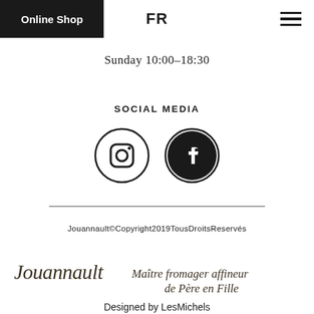Online Shop | FR | ☰
Sunday 10:00–18:30
SOCIAL MEDIA
[Figure (other): Instagram and Facebook social media circular icon buttons]
Jouannault©Copyright2019TousDroitsReservés
[Figure (logo): Jouannault Maître fromager affineur de Père en Fille — cursive script logo]
Designed by LesMichels